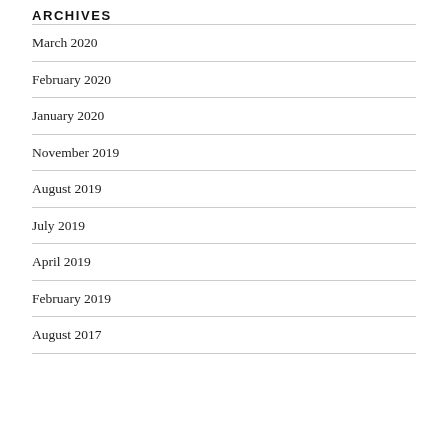ARCHIVES
March 2020
February 2020
January 2020
November 2019
August 2019
July 2019
April 2019
February 2019
August 2017